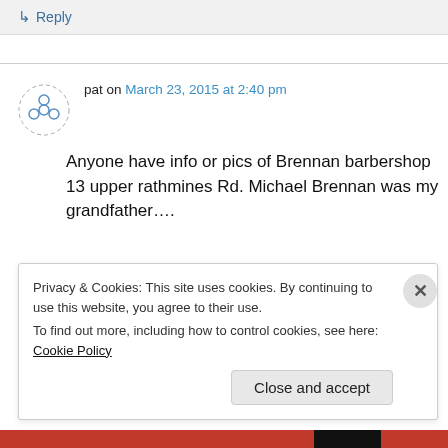↳ Reply
pat on March 23, 2015 at 2:40 pm
Anyone have info or pics of Brennan barbershop 13 upper rathmines Rd. Michael Brennan was my grandfather....
Privacy & Cookies: This site uses cookies. By continuing to use this website, you agree to their use.
To find out more, including how to control cookies, see here: Cookie Policy
Close and accept